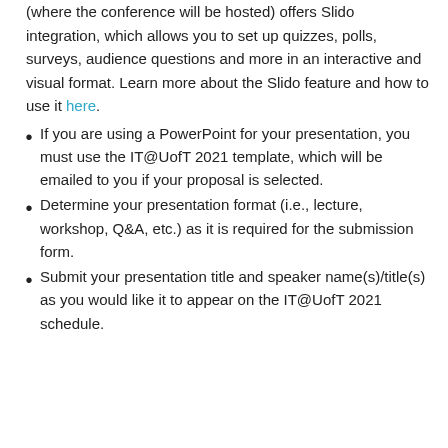(where the conference will be hosted) offers Slido integration, which allows you to set up quizzes, polls, surveys, audience questions and more in an interactive and visual format. Learn more about the Slido feature and how to use it here.
If you are using a PowerPoint for your presentation, you must use the IT@UofT 2021 template, which will be emailed to you if your proposal is selected.
Determine your presentation format (i.e., lecture, workshop, Q&A, etc.) as it is required for the submission form.
Submit your presentation title and speaker name(s)/title(s) as you would like it to appear on the IT@UofT 2021 schedule.